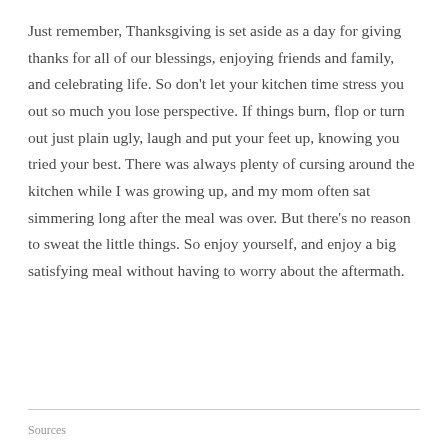Just remember, Thanksgiving is set aside as a day for giving thanks for all of our blessings, enjoying friends and family, and celebrating life. So don't let your kitchen time stress you out so much you lose perspective. If things burn, flop or turn out just plain ugly, laugh and put your feet up, knowing you tried your best. There was always plenty of cursing around the kitchen while I was growing up, and my mom often sat simmering long after the meal was over. But there's no reason to sweat the little things. So enjoy yourself, and enjoy a big satisfying meal without having to worry about the aftermath.
Sources